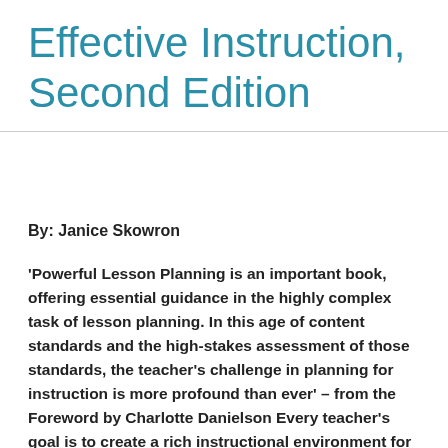Effective Instruction, Second Edition
By: Janice Skowron
'Powerful Lesson Planning is an important book, offering essential guidance in the highly complex task of lesson planning. In this age of content standards and the high-stakes assessment of those standards, the teacher's challenge in planning for instruction is more profound than ever' – from the Foreword by Charlotte Danielson Every teacher's goal is to create a rich instructional environment for their students, and